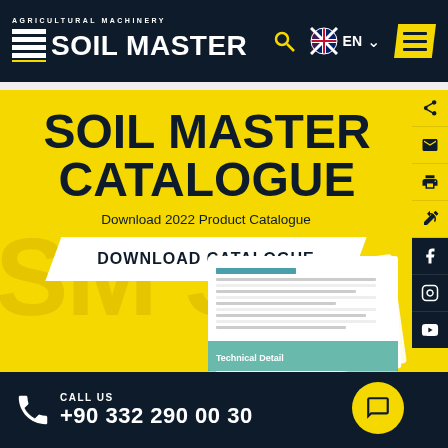SOIL MASTER Agricultural Machinery — Navigation bar with logo, search, language EN, hamburger menu
SOIL MASTER CATALOGUE
Download 2022 Product Catalogue
DOWNLOAD CATALOGUE
[Figure (photo): Open catalogue pages showing technical document pages]
CALL US +90 332 290 00 30